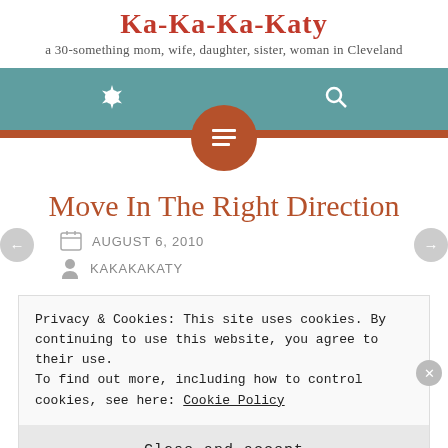Ka-Ka-Ka-Katy
a 30-something mom, wife, daughter, sister, woman in Cleveland
[Figure (screenshot): Navigation bar with teal background, gear icon on left, search icon on right]
Move In The Right Direction
AUGUST 6, 2010
KAKAKAKATY
Privacy & Cookies: This site uses cookies. By continuing to use this website, you agree to their use.
To find out more, including how to control cookies, see here: Cookie Policy
Close and accept